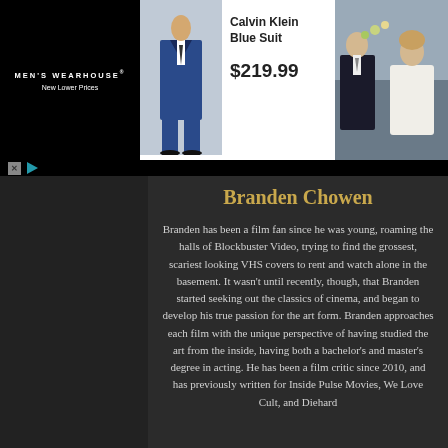[Figure (other): Men's Wearhouse advertisement banner showing Calvin Klein Blue Suit for $219.99 with a man in a blue suit and a couple in formal wear]
Branden Chowen
Branden has been a film fan since he was young, roaming the halls of Blockbuster Video, trying to find the grossest, scariest looking VHS covers to rent and watch alone in the basement. It wasn't until recently, though, that Branden started seeking out the classics of cinema, and began to develop his true passion for the art form. Branden approaches each film with the unique perspective of having studied the art from the inside, having both a bachelor's and master's degree in acting. He has been a film critic since 2010, and has previously written for Inside Pulse Movies, We Love Cult, and Diehard